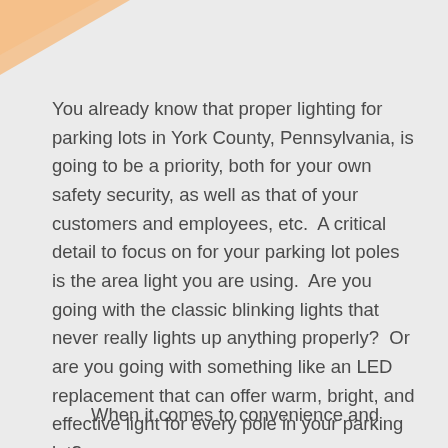[Figure (illustration): Decorative corner accent with orange/peach diagonal shape in the top-left corner]
You already know that proper lighting for parking lots in York County, Pennsylvania, is going to be a priority, both for your own safety security, as well as that of your customers and employees, etc.  A critical detail to focus on for your parking lot poles is the area light you are using.  Are you going with the classic blinking lights that never really lights up anything properly?  Or are you going with something like an LED replacement that can offer warm, bright, and effective light for every pole in your parking lot?
When it comes to convenience and